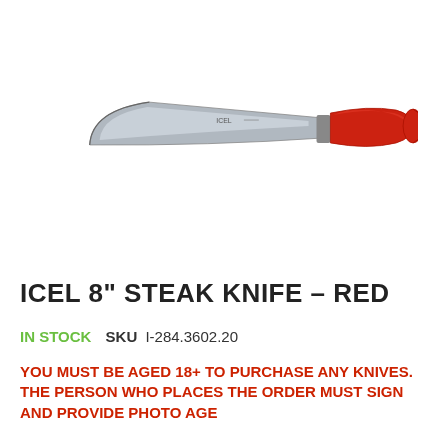[Figure (photo): Product photo of an ICEL 8-inch steak knife with a stainless steel curved blade and red plastic handle, shown horizontally on a white background.]
ICEL 8" STEAK KNIFE – RED
IN STOCK  SKU  I-284.3602.20
YOU MUST BE AGED 18+ TO PURCHASE ANY KNIVES. THE PERSON WHO PLACES THE ORDER MUST SIGN AND PROVIDE PHOTO AGE